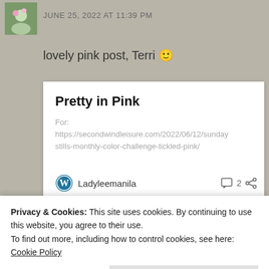JUNE 25, 2022 AT 11:39 PM
lovely pink post, Terri 🙂
Pretty in Pink
For:
https://secondwindleisure.com/2022/06/12/sunday-stills-monthly-color-challenge-tickled-pink/
Ladyleemanila   💬 2
Privacy & Cookies: This site uses cookies. By continuing to use this website, you agree to their use.
To find out more, including how to control cookies, see here: Cookie Policy
Close and accept
OnceUponaTimeHappilyEverAfter.com